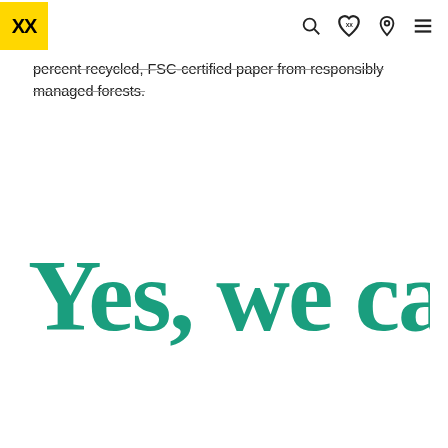XX logo with navigation icons (search, wishlist heart, location pin, hamburger menu)
percent recycled, FSC-certified paper from responsibly managed forests.
[Figure (illustration): Large handwritten-style teal/green text reading 'Yes, we care!' in a brush script font on white background]